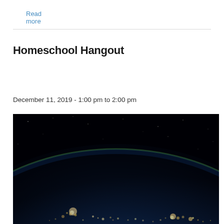Read more
Homeschool Hangout
Homeschool Hangout
December 11, 2019 - 1:00 pm to 2:00 pm
[Figure (photo): Photo of Earth from space at night, showing city lights along the curved horizon against a dark sky backdrop]